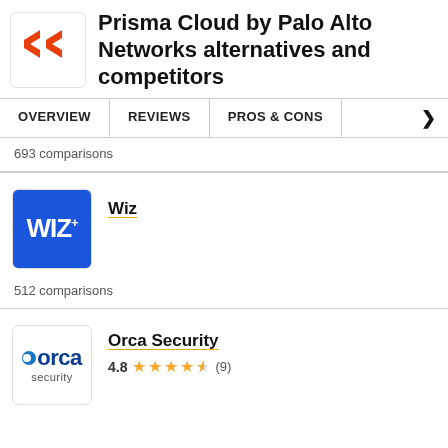Prisma Cloud by Palo Alto Networks alternatives and competitors
693 comparisons
Wiz
512 comparisons
Orca Security
4.8 (9)